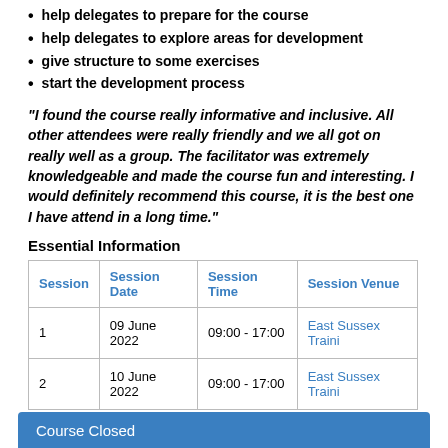help delegates to prepare for the course
help delegates to explore areas for development
give structure to some exercises
start the development process
"I found the course really informative and inclusive. All other attendees were really friendly and we all got on really well as a group. The facilitator was extremely knowledgeable and made the course fun and interesting. I would definitely recommend this course, it is the best one I have attend in a long time."
Essential Information
| Session | Session Date | Session Time | Session Venue |
| --- | --- | --- | --- |
| 1 | 09 June 2022 | 09:00 - 17:00 | East Sussex Traini |
| 2 | 10 June 2022 | 09:00 - 17:00 | East Sussex Traini |
Course Closed